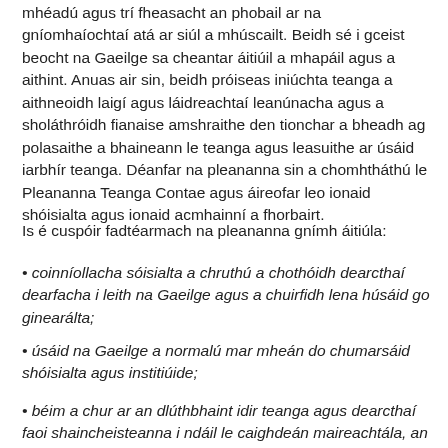mhéadú agus trí fheasacht an phobail ar na gníomhaíochtaí atá ar siúl a mhúscailt. Beidh sé i gceist beocht na Gaeilge sa cheantar áitiúil a mhapáil agus a aithint. Anuas air sin, beidh próiseas iniúchta teanga a aithneoidh laigí agus láidreachtaí leanúnacha agus a sholáthróidh fianaise amshraithe den tionchar a bheadh ag polasaithe a bhaineann le teanga agus leasuithe ar úsáid iarbhír teanga. Déanfar na pleananna sin a chomhtháthú le Pleananna Teanga Contae agus áireofar leo ionaid shóisialta agus ionaid acmhainní a fhorbairt.
Is é cuspóir fadtéarmach na pleananna gnímh áitiúla:
• coinníollacha sóisialta a chruthú a chothóidh dearcthaí dearfacha i leith na Gaeilge agus a chuirfidh lena húsáid go ginearálta;
• úsáid na Gaeilge a normalú mar mheán do chumarsáid shóisialta agus institiúide;
• béim a chur ar an dlúthbhaint idir teanga agus dearcthaí faoi shaincheisteanna i ndáil le caighdeán maireachtála, an